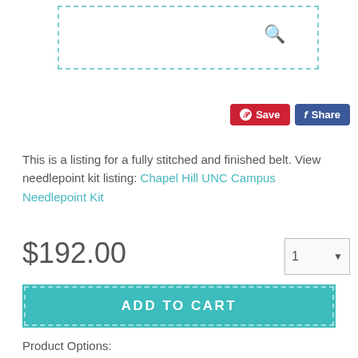[Figure (screenshot): Search bar with dashed teal border and search icon]
[Figure (screenshot): Pinterest Save button (red) and Facebook Share button (blue)]
This is a listing for a fully stitched and finished belt. View needlepoint kit listing: Chapel Hill UNC Campus Needlepoint Kit
$192.00
[Figure (screenshot): Quantity selector dropdown showing 1]
ADD TO CART
Product Options:
Oxblood Leather / Brass Buckle
Product Size: